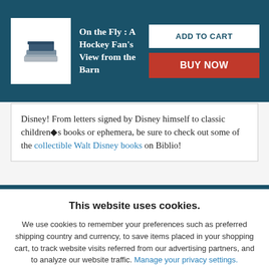On the Fly : A Hockey Fan's View from the Barn
Disney! From letters signed by Disney himself to classic children■s books or ephemera, be sure to check out some of the collectible Walt Disney books on Biblio!
This website uses cookies.
We use cookies to remember your preferences such as preferred shipping country and currency, to save items placed in your shopping cart, to track website visits referred from our advertising partners, and to analyze our website traffic. Manage your privacy settings.
AGREE AND CLOSE